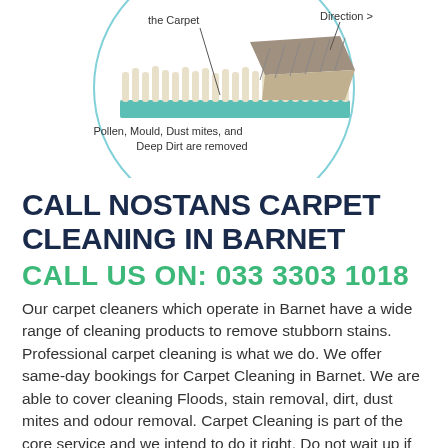[Figure (schematic): Circular diagram showing a carpet cleaning schematic with carpet fibers, a cleaning tool/brush moving in a direction, with labels 'the Carpet', 'Direction >', and 'Pollen, Mould, Dust mites, and Deep Dirt are removed'. Circle outline in light blue.]
CALL NOSTANS CARPET CLEANING IN BARNET
CALL US ON: 033 3303 1018
Our carpet cleaners which operate in Barnet have a wide range of cleaning products to remove stubborn stains. Professional carpet cleaning is what we do. We offer same-day bookings for Carpet Cleaning in Barnet. We are able to cover cleaning Floods, stain removal, dirt, dust mites and odour removal. Carpet Cleaning is part of the core service and we intend to do it right. Do not wait up if you have spilt a